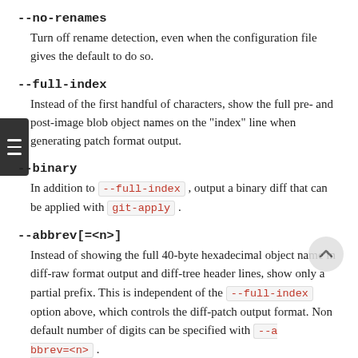--no-renames
Turn off rename detection, even when the configuration file gives the default to do so.
--full-index
Instead of the first handful of characters, show the full pre- and post-image blob object names on the "index" line when generating patch format output.
--binary
In addition to --full-index, output a binary diff that can be applied with git-apply.
--abbrev[=<n>]
Instead of showing the full 40-byte hexadecimal object name in diff-raw format output and diff-tree header lines, show only a partial prefix. This is independent of the --full-index option above, which controls the diff-patch output format. Non default number of digits can be specified with --abbrev=<n>.
-B[<n>][/<m>]